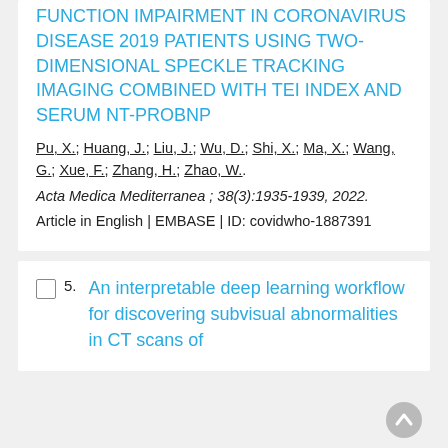FUNCTION IMPAIRMENT IN CORONAVIRUS DISEASE 2019 PATIENTS USING TWO-DIMENSIONAL SPECKLE TRACKING IMAGING COMBINED WITH TEI INDEX AND SERUM NT-PROBNP
Pu, X.; Huang, J.; Liu, J.; Wu, D.; Shi, X.; Ma, X.; Wang, G.; Xue, F.; Zhang, H.; Zhao, W.
Acta Medica Mediterranea ; 38(3):1935-1939, 2022.
Article in English | EMBASE | ID: covidwho-1887391
An interpretable deep learning workflow for discovering subvisual abnormalities in CT scans of